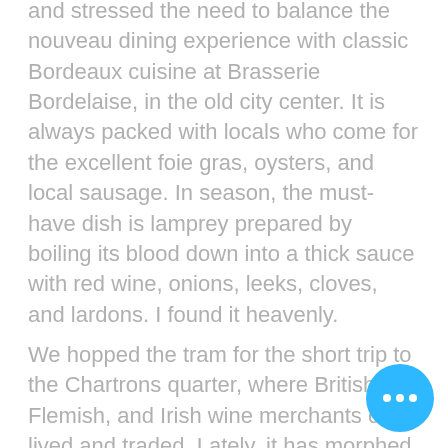and stressed the need to balance the nouveau dining experience with classic Bordeaux cuisine at Brasserie Bordelaise, in the old city center. It is always packed with locals who come for the excellent foie gras, oysters, and local sausage. In season, the must-have dish is lamprey prepared by boiling its blood down into a thick sauce with red wine, onions, leeks, cloves, and lardons. I found it heavenly.
We hopped the tram for the short trip to the Chartrons quarter, where British, Flemish, and Irish wine merchants once lived and traded. Lately, it has morphed into a cool, gentrified neighborhood of residential lofts, art galleries, restaurants, and boutiques. Part of its charm is that it is still in the stages of becoming: some abandoned buildings stand out in their sooty blackness, while others have been scrubbed to creamy beige.
It's against this backdrop that the Cité